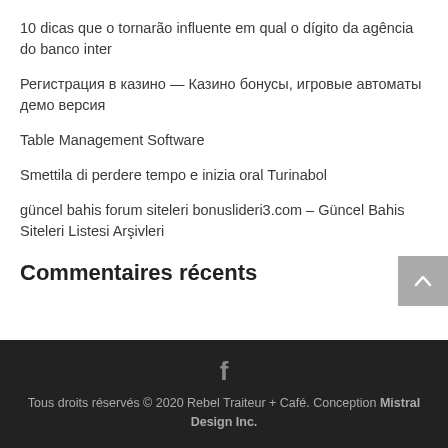10 dicas que o tornarão influente em qual o dígito da agência do banco inter
Регистрация в казино — Казино бонусы, игровые автоматы демо версия
Table Management Software
Smettila di perdere tempo e inizia oral Turinabol
güncel bahis forum siteleri bonuslideri3.com – Güncel Bahis Siteleri Listesi Arşivleri
Commentaires récents
Tous droits réservés © 2020 Rebel Traiteur + Café. Conception Mistral Design Inc.